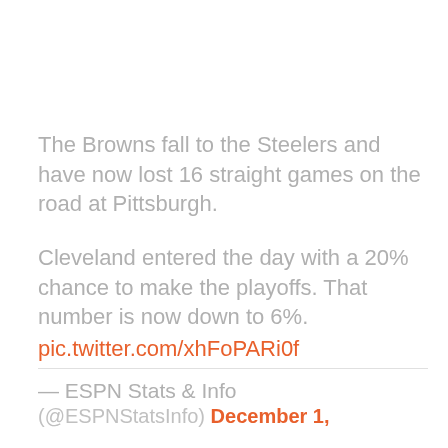The Browns fall to the Steelers and have now lost 16 straight games on the road at Pittsburgh.
Cleveland entered the day with a 20% chance to make the playoffs. That number is now down to 6%. pic.twitter.com/xhFoPARi0f
— ESPN Stats & Info (@ESPNStatsInfo) December 1,